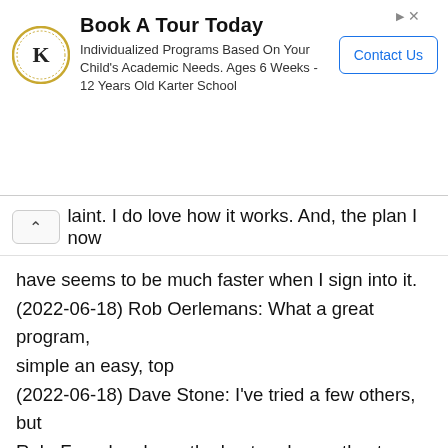[Figure (other): Advertisement banner with Karter School logo (K in a gold crest circle), title 'Book A Tour Today', subtitle text about individualized programs, and a 'Contact Us' button]
laint. I do love how it works. And, the plan I now have seems to be much faster when I sign into it. (2022-06-18) Rob Oerlemans: What a great program, simple an easy, top (2022-06-18) Dave Stone: I've tried a few others, but RoboForm has been the best and smoothest, once I learned the different things I could do.. It's great! (2022-06-18) 🟫🟫🟫: just only one!!! best of the best. (2022-06-17) Peter Hanzlicek: Have been a user for many years but recently upgraded PC and lost my password, had to repurchase it. I have well over 100 passwords so it saves a lot of time and effort to remember each one. It works well. Would recommend the extension